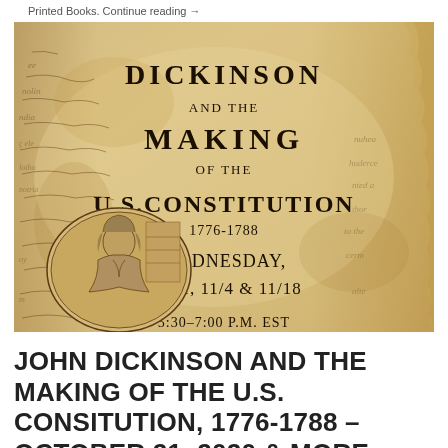Printed Books. Continue reading →
[Figure (photo): Aged parchment book cover with cursive handwriting in the background, showing text: DICKINSON AND THE MAKING OF THE U.S. CONSTITUTION 1776-1788 WEDNESDAY, 10/21, 11/4 & 11/18 5:30-7:00 P.M. EST. An oval engraved portrait of John Dickinson is shown in the lower left.]
JOHN DICKINSON AND THE MAKING OF THE U.S. CONSITUTION, 1776-1788 – OCTOBER 21, 2020 & MORE